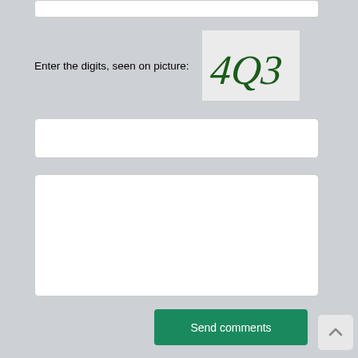[Figure (screenshot): CAPTCHA image showing stylized text '4Q3' in dark green gothic font on a light gray background]
Enter the digits, seen on picture:
[Figure (screenshot): Empty text input field for CAPTCHA entry]
[Figure (screenshot): Large empty textarea for comments]
Send comments